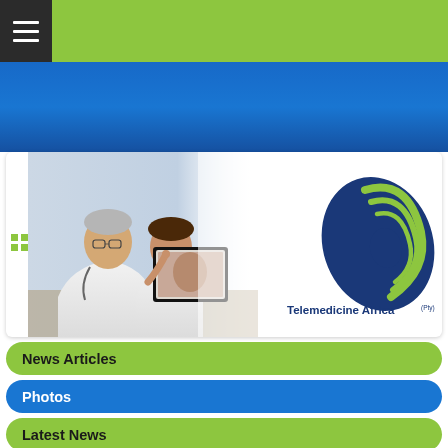Navigation menu bar with hamburger icon on green background
[Figure (screenshot): Blue banner header area for Telemedicine Africa website]
[Figure (photo): Two doctors in white coats looking at a medical display screen showing patient images]
[Figure (logo): Telemedicine Africa logo - blue and green oval spiral with text]
News Articles
Photos
Latest News
Newsletter